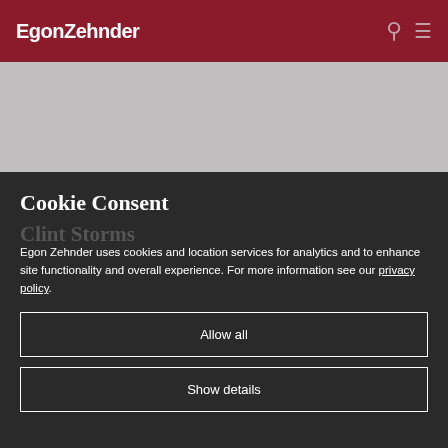EgonZehnder
[Figure (other): Gray banner placeholder image area]
Cookie Consent
Egon Zehnder uses cookies and location services for analytics and to enhance site functionality and overall experience. For more information see our privacy policy.
Allow all
Show details